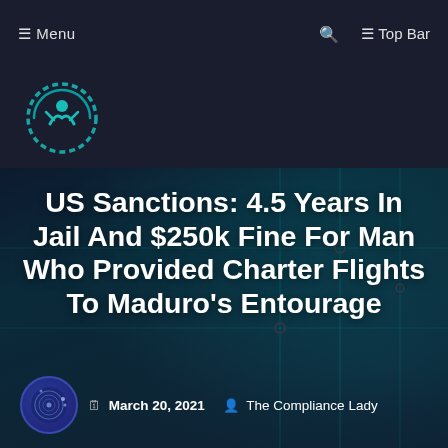☰ Menu   🔍   ☰ Top Bar
[Figure (logo): Circular teal/cyan logo with a checkmark figure inside, resembling a person with arms raised, on a dark navy background]
US Sanctions: 4.5 Years In Jail And $250k Fine For Man Who Provided Charter Flights To Maduro's Entourage
March 20, 2021   The Compliance Lady